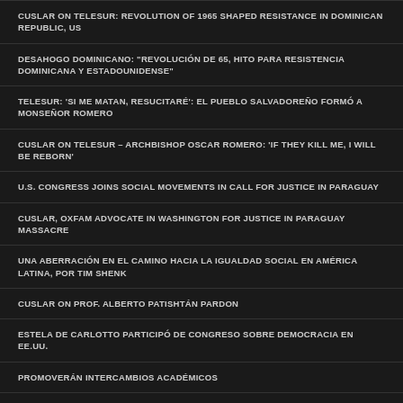CUSLAR ON TELESUR: REVOLUTION OF 1965 SHAPED RESISTANCE IN DOMINICAN REPUBLIC, US
DESAHOGO DOMINICANO: "REVOLUCIÓN DE 65, HITO PARA RESISTENCIA DOMINICANA Y ESTADOUNIDENSE"
TELESUR: 'SI ME MATAN, RESUCITARÉ': EL PUEBLO SALVADOREÑO FORMÓ A MONSEÑOR ROMERO
CUSLAR ON TELESUR – ARCHBISHOP OSCAR ROMERO: 'IF THEY KILL ME, I WILL BE REBORN'
U.S. CONGRESS JOINS SOCIAL MOVEMENTS IN CALL FOR JUSTICE IN PARAGUAY
CUSLAR, OXFAM ADVOCATE IN WASHINGTON FOR JUSTICE IN PARAGUAY MASSACRE
UNA ABERRACIÓN EN EL CAMINO HACIA LA IGUALDAD SOCIAL EN AMÉRICA LATINA, POR TIM SHENK
CUSLAR ON PROF. ALBERTO PATISHTÁN PARDON
ESTELA DE CARLOTTO PARTICIPÓ DE CONGRESO SOBRE DEMOCRACIA EN EE.UU.
PROMOVERÁN INTERCAMBIOS ACADÉMICOS
COLOMBIAN PEACE PROCESS: INTERVIEW WITH JANICE GALLAGHER